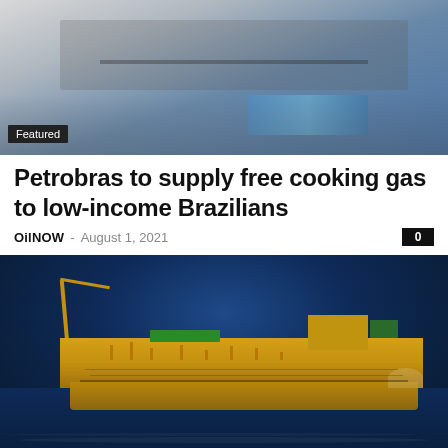[Figure (photo): Featured image showing a gas stove burner with blue flame, blurred background]
Petrobras to supply free cooking gas to low-income Brazilians
OilNOW – August 1, 2021
[Figure (photo): Aerial photograph of a Petrobras FPSO (Floating Production Storage and Offloading) vessel on the ocean]